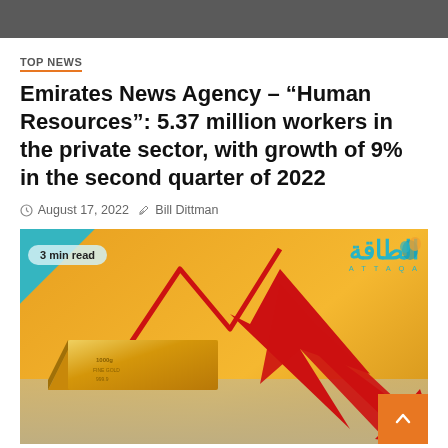TOP NEWS
Emirates News Agency – “Human Resources”: 5.37 million workers in the private sector, with growth of 9% in the second quarter of 2022
August 17, 2022   Bill Dittman
[Figure (photo): Gold bar lying in sand with a red downward arrow chart overlay and Attaqa energy news logo, '3 min read' badge in top left]